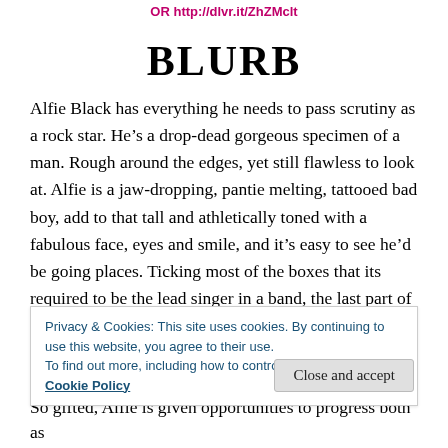OR http://dlvr.it/ZhZMclt
BLURB
Alfie Black has everything he needs to pass scrutiny as a rock star. He’s a drop-dead gorgeous specimen of a man. Rough around the edges, yet still flawless to look at. Alfie is a jaw-dropping, pantie melting, tattooed bad boy, add to that tall and athletically toned with a fabulous face, eyes and smile, and it’s easy to see he’d be going places. Ticking most of the boxes that its required to be the lead singer in a band, the last part of the equation may not
Privacy & Cookies: This site uses cookies. By continuing to use this website, you agree to their use. To find out more, including how to control cookies, see here: Cookie Policy
So gifted, Alfie is given opportunities to progress both as